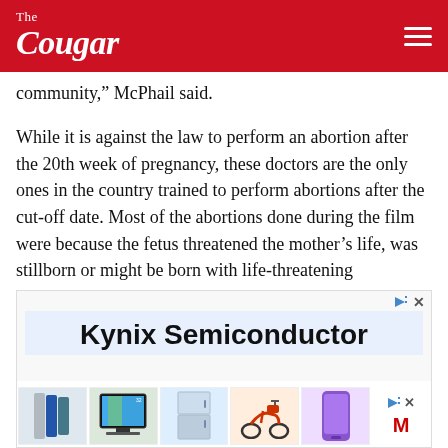The Cougar
community," McPhail said.
While it is against the law to perform an abortion after the 20th week of pregnancy, these doctors are the only ones in the country trained to perform abortions after the cut-off date. Most of the abortions done during the film were because the fetus threatened the mother's life, was stillborn or might be born with life-threatening disabilities.
[Figure (infographic): Advertisement banner for Kynix Semiconductor showing product images including smartphones, TV, refrigerator, scooter, and phone]